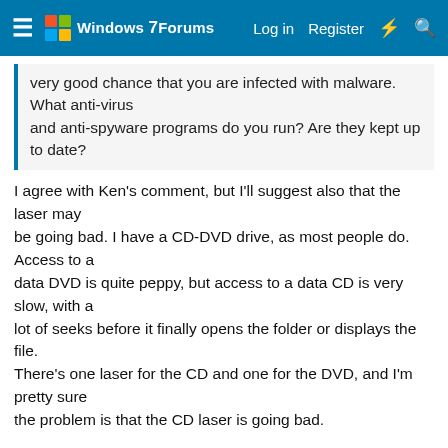Windows 7 Forums  Log in  Register
very good chance that you are infected with malware. What anti-virus and anti-spyware programs do you run? Are they kept up to date?
I agree with Ken's comment, but I'll suggest also that the laser may be going bad. I have a CD-DVD drive, as most people do. Access to a data DVD is quite peppy, but access to a data CD is very slow, with a lot of seeks before it finally opens the folder or displays the file. There's one laser for the CD and one for the DVD, and I'm pretty sure the problem is that the CD laser is going bad.
I would just replace the drive, but the screws are screwed in so tightly that I can't loosen them. Thanks, Dell!